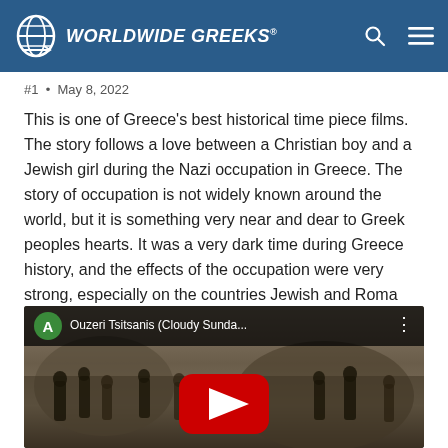Worldwide Greeks
#1  •  May 8, 2022
This is one of Greece's best historical time piece films. The story follows a love between a Christian boy and a Jewish girl during the Nazi occupation in Greece. The story of occupation is not widely known around the world, but it is something very near and dear to Greek peoples hearts. It was a very dark time during Greece history, and the effects of the occupation were very strong, especially on the countries Jewish and Roma population. Let me know if you like this film.
[Figure (screenshot): YouTube video embed showing 'Ouzeri Tsitsanis (Cloudy Sunda...' with a green avatar circle labeled A, a red play button over a scene of soldiers/people in a rocky outdoor setting.]